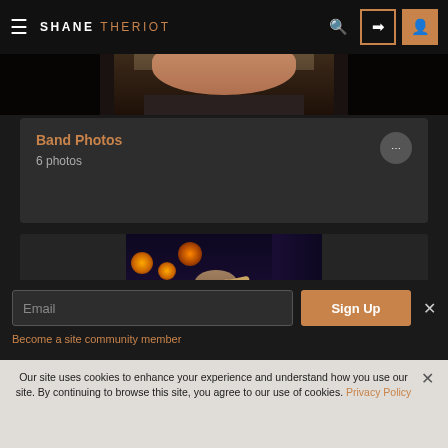SHANE THERIOT
[Figure (photo): Hero banner with partial face/hair of person visible at top of page]
Band Photos
6 photos
[Figure (photo): Concert photo of guitarist playing a green electric guitar on stage with stage lighting]
Email
Sign Up
Become a site community member
Our site uses cookies to enhance your experience and understand how you use our site. By continuing to browse this site, you agree to our use of cookies. Privacy Policy